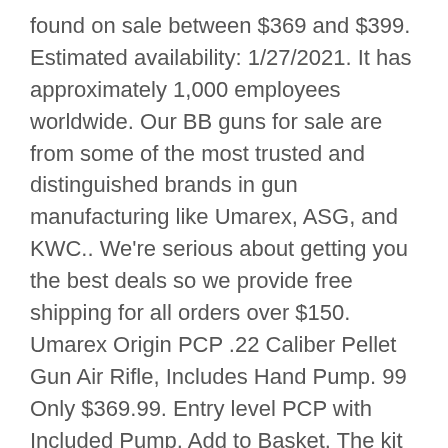found on sale between $369 and $399. Estimated availability: 1/27/2021. It has approximately 1,000 employees worldwide. Our BB guns for sale are from some of the most trusted and distinguished brands in gun manufacturing like Umarex, ASG, and KWC.. We're serious about getting you the best deals so we provide free shipping for all orders over $150. Umarex Origin PCP .22 Caliber Pellet Gun Air Rifle, Includes Hand Pump. 99 Only $369.99. Entry level PCP with Included Pump. Add to Basket. The kit also provides baffle chambers to help remove both noise and turbulence in the air stream. Sale. TNT also provides smooth and consistent cocking with minimum effort. Add to Wish list. Starting at $174.99. Umarex Legends MP40 CO2 Blowback Steel BB Submachine Gun, Umarex Legends M1A1 Full Auto CO2 Blowback Steel BB Rifle, Walther Nighthunter Light and Laser Sight, Umarex HK USP Blowback 16rd BB Gun Magazine, Umarex T4E TPM1 8XP .43 Training Paintball Gun - Black, Umarex .177/.22 caliber Airgun Cleaning Kit, Umarex T4E